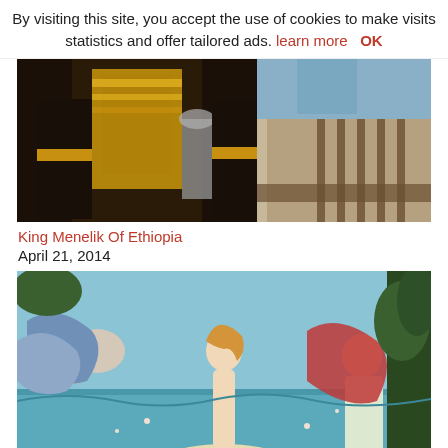By visiting this site, you accept the use of cookies to make visits statistics and offer tailored ads. learn more OK
[Figure (photo): Close-up photo of an Egyptian-style statue or figure with gold and black coloring, with an architectural background featuring stone structures.]
King Menelik Of Ethiopia
April 21, 2014
[Figure (photo): Botticelli's Birth of Venus painting showing Venus standing on a shell with figures around her including wind gods and a woman offering a garment.]